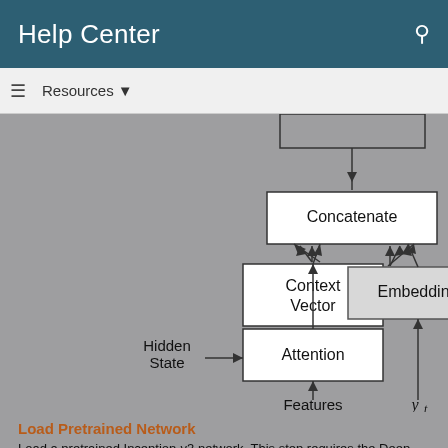Help Center
Resources ▼
[Figure (flowchart): Neural network attention mechanism diagram showing: Hidden State → Attention block, Features → Attention block (arrow from below), Attention → Context Vector (arrow up), Context Vector → Concatenate (arrow up), Embedding → Concatenate (arrow from right), y_t → Embedding (arrow up), Concatenate → (arrow up, partially visible at top). A partially visible box at the top center is labeled with partial text.]
Load Pretrained Network
Load a pretrained Inception-v3 network. This step requires the Deep Learning Toolbox™ Model for Inception-v3 Network support package. If you do not have the required support package